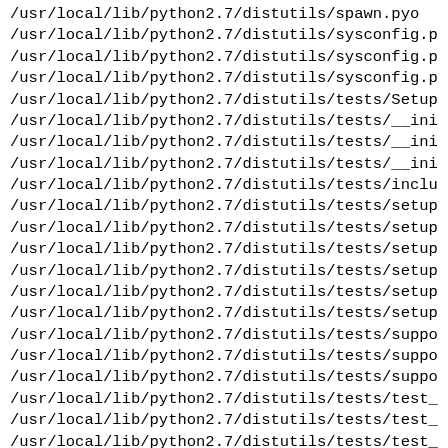/usr/local/lib/python2.7/distutils/spawn.pyo
/usr/local/lib/python2.7/distutils/sysconfig.py
/usr/local/lib/python2.7/distutils/sysconfig.pyc
/usr/local/lib/python2.7/distutils/sysconfig.pyo
/usr/local/lib/python2.7/distutils/tests/Setup.s
/usr/local/lib/python2.7/distutils/tests/__init_
/usr/local/lib/python2.7/distutils/tests/__init_
/usr/local/lib/python2.7/distutils/tests/__init_
/usr/local/lib/python2.7/distutils/tests/include
/usr/local/lib/python2.7/distutils/tests/setupto
/usr/local/lib/python2.7/distutils/tests/setupto
/usr/local/lib/python2.7/distutils/tests/setupto
/usr/local/lib/python2.7/distutils/tests/setupto
/usr/local/lib/python2.7/distutils/tests/setupto
/usr/local/lib/python2.7/distutils/tests/setupto
/usr/local/lib/python2.7/distutils/tests/support
/usr/local/lib/python2.7/distutils/tests/support
/usr/local/lib/python2.7/distutils/tests/support
/usr/local/lib/python2.7/distutils/tests/test_ar
/usr/local/lib/python2.7/distutils/tests/test_ar
/usr/local/lib/python2.7/distutils/tests/test_ar
/usr/local/lib/python2.7/distutils/tests/test_bd